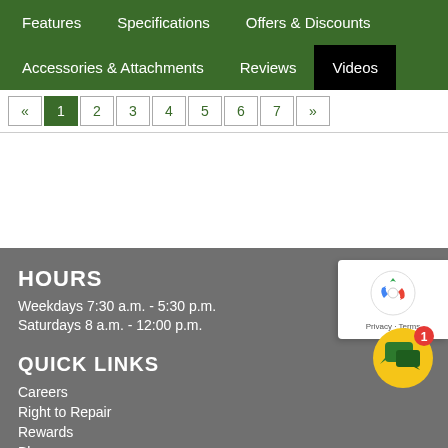Features | Specifications | Offers & Discounts | Accessories & Attachments | Reviews | Videos
« 1 2 3 4 5 6 7 »
HOURS
Weekdays 7:30 a.m. - 5:30 p.m.
Saturdays 8 a.m. - 12:00 p.m.
QUICK LINKS
Careers
Right to Repair
Rewards
Blog
About Us
[Figure (logo): reCAPTCHA badge with Privacy and Terms links]
[Figure (illustration): Yellow chat bubble icon with green speech bubble and red notification badge showing 1]